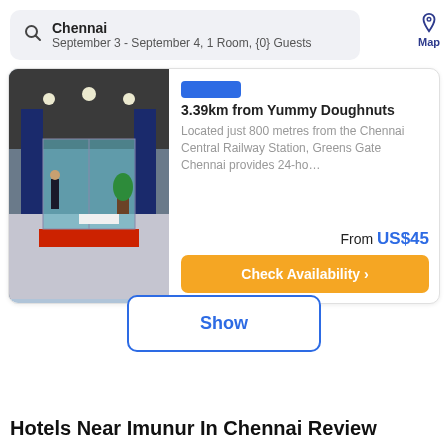Chennai
September 3 - September 4, 1 Room, {0} Guests
Map
3.39km from Yummy Doughnuts
Located just 800 metres from the Chennai Central Railway Station, Greens Gate Chennai provides 24-ho...
From US$45
Check Availability >
Show
Hotels Near Imunur In Chennai Review